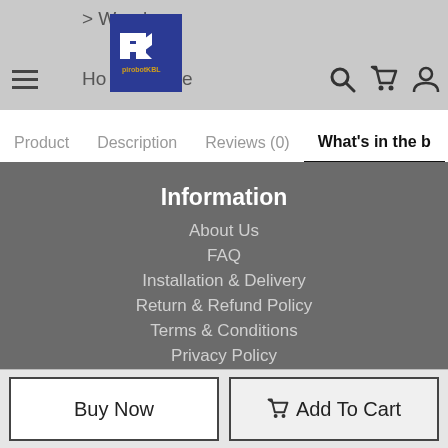> Wardrobe Home Office
[Figure (logo): PK Airobot KBL logo, blue square with PK initials]
Product  Description  Reviews (0)  What's in the b
Information
About Us
FAQ
Installation & Delivery
Return & Refund Policy
Terms & Conditions
Privacy Policy
My Account
My Account
Order History
Wish List
Buy Now  Add To Cart